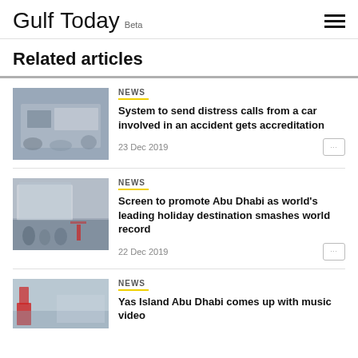Gulf Today Beta
Related articles
NEWS
System to send distress calls from a car involved in an accident gets accreditation
23 Dec 2019
NEWS
Screen to promote Abu Dhabi as world's leading holiday destination smashes world record
22 Dec 2019
NEWS
Yas Island Abu Dhabi comes up with music video